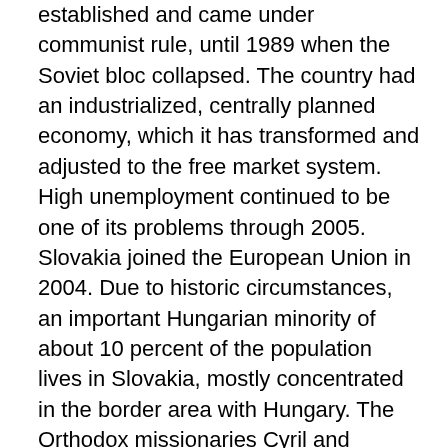established and came under communist rule, until 1989 when the Soviet bloc collapsed. The country had an industrialized, centrally planned economy, which it has transformed and adjusted to the free market system. High unemployment continued to be one of its problems through 2005. Slovakia joined the European Union in 2004. Due to historic circumstances, an important Hungarian minority of about 10 percent of the population lives in Slovakia, mostly concentrated in the border area with Hungary. The Orthodox missionaries Cyril and Methodius were the first to evangelize the Slovaks. Today the Orthodox are a minority, because the Catholic Church established its influence over the centuries, and became the majority church. The largest Protestant churches are the Lutherans and the Reformed, the latter mostly among the Hungarians. The Ecumenical Council of Churches is broadly representative of the Protestants and the Orthodox, with the Catholic Church as an observer